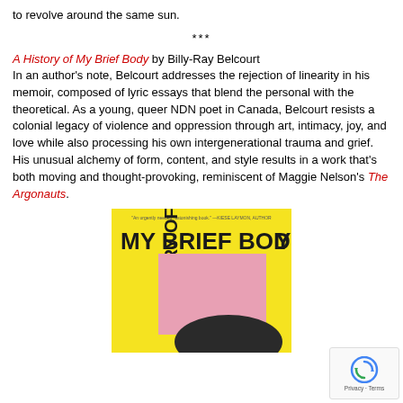to revolve around the same sun.
***
A History of My Brief Body by Billy-Ray Belcourt
In an author's note, Belcourt addresses the rejection of linearity in his memoir, composed of lyric essays that blend the personal with the theoretical. As a young, queer NDN poet in Canada, Belcourt resists a colonial legacy of violence and oppression through art, intimacy, joy, and love while also processing his own intergenerational trauma and grief. His unusual alchemy of form, content, and style results in a work that's both moving and thought-provoking, reminiscent of Maggie Nelson's The Argonauts.
[Figure (photo): Book cover of 'A History of My Brief Body' — yellow background with large black text 'MY BRIEF BOD' across top, 'STORY OF' vertically on left side, a large pink/mauve square shape in center, dark shape at bottom.]